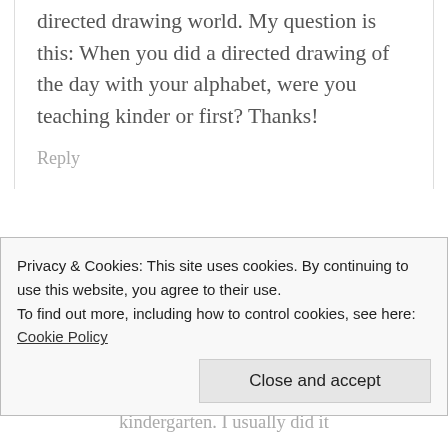directed drawing world. My question is this: When you did a directed drawing of the day with your alphabet, were you teaching kinder or first? Thanks!
Reply
Jennifer says
March 16, 2019 at 1:44
Privacy & Cookies: This site uses cookies. By continuing to use this website, you agree to their use.
To find out more, including how to control cookies, see here: Cookie Policy
Close and accept
kindergarten. I usually did it